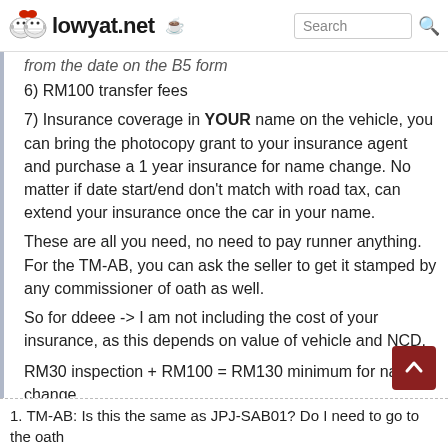lowyat.net | Search
from the date on the B5 form
6) RM100 transfer fees
7) Insurance coverage in YOUR name on the vehicle, you can bring the photocopy grant to your insurance agent and purchase a 1 year insurance for name change. No matter if date start/end don't match with road tax, can extend your insurance once the car in your name.
These are all you need, no need to pay runner anything.
For the TM-AB, you can ask the seller to get it stamped by any commissioner of oath as well.
So for ddeee -> I am not including the cost of your insurance, as this depends on value of vehicle and NCD.
RM30 inspection + RM100 = RM130 minimum for name change
These are what I did recently, and to be honest I saved a lot of money instead of using runners.
1. TM-AB: Is this the same as JPJ-SAB01? Do I need to go to the oath